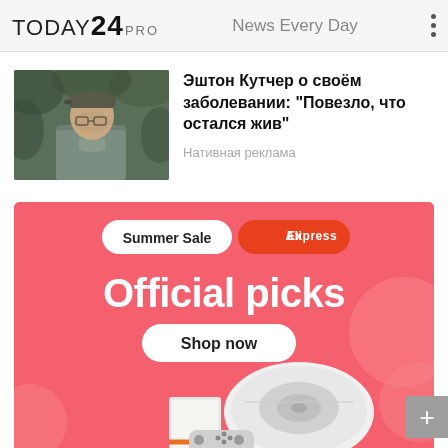TODAY24 PRO  News Every Day
[Figure (photo): Photo of a man wearing a cap in an outdoor wooded setting]
Эштон Кутчер о своём заболевании: "Повезло, что остался жив"
Нативная реклама
[Figure (infographic): AliExpress Summer Sale advertisement banner. Pink background with white pill-shaped badge 'Summer Sale', orange AliExpress logo. Large white text 'Official picks', white pill button 'Shop now'. Product images including robot vacuum, gaming console and handheld game device at bottom.]